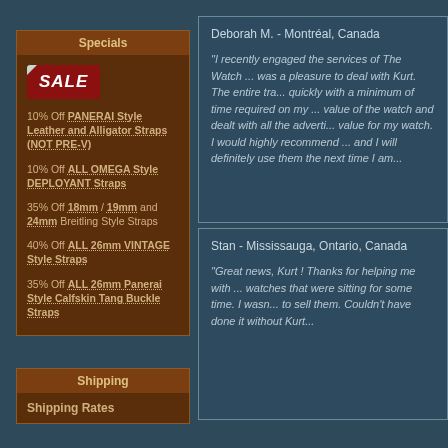Specials
[Figure (illustration): SALE badge in red with white italic text]
10% Off PANERAI Style Leather and Alligator Straps (NOT PRE-V)
10% Off ALL OMEGA Style DEPLOYANT Straps
35% Off 18mm / 19mm and 24mm Breitling Style Straps
40% Off ALL 26mm VINTAGE Style Straps
35% Off ALL 26mm Panerai Style Calfskin Tang Buckle Straps
Deborah M. - Montréal, Canada
"I recently engaged the services of The Watch ... was a pleasure to deal with Kurt. The entire tra... quickly with a minimum of time required on my ... value of the watch and dealt with all the adverti... value for my watch. I would highly recommend ... and I will definitely use them the next time I am...
Stan - Mississauga, Ontario, Canada
"Great news, Kurt ! Thanks for helping me with ... watches that were sitting for some time. I wasn... to sell them. Couldn't have done it without Kurt...
Shipping
Shipping Rates